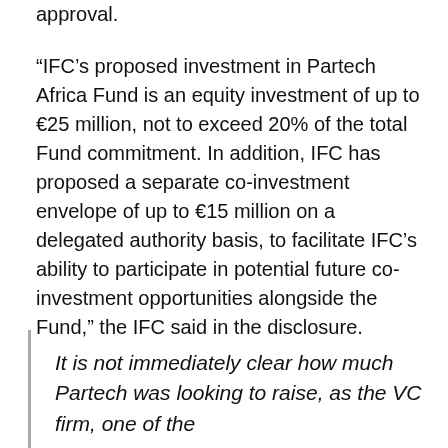approval.
“IFC’s proposed investment in Partech Africa Fund is an equity investment of up to €25 million, not to exceed 20% of the total Fund commitment. In addition, IFC has proposed a separate co-investment envelope of up to €15 million on a delegated authority basis, to facilitate IFC’s ability to participate in potential future co-investment opportunities alongside the Fund,” the IFC said in the disclosure.
It is not immediately clear how much Partech was looking to raise, as the VC firm, one of the